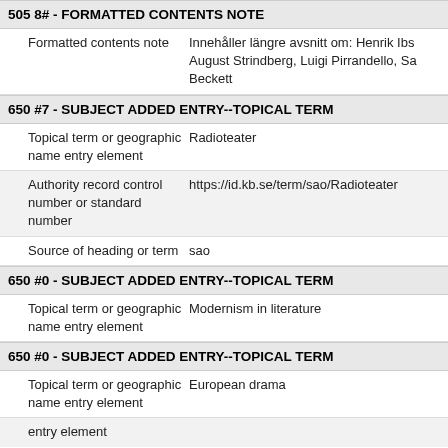505 8# - FORMATTED CONTENTS NOTE
| Field | Value |
| --- | --- |
| Formatted contents note | Innehåller längre avsnitt om: Henrik Ibs... August Strindberg, Luigi Pirrandello, Sa... Beckett |
650 #7 - SUBJECT ADDED ENTRY--TOPICAL TERM
| Field | Value |
| --- | --- |
| Topical term or geographic name entry element | Radioteater |
| Authority record control number or standard number | https://id.kb.se/term/sao/Radioteater |
| Source of heading or term | sao |
650 #0 - SUBJECT ADDED ENTRY--TOPICAL TERM
| Field | Value |
| --- | --- |
| Topical term or geographic name entry element | Modernism in literature |
650 #0 - SUBJECT ADDED ENTRY--TOPICAL TERM
| Field | Value |
| --- | --- |
| Topical term or geographic name entry element | European drama |